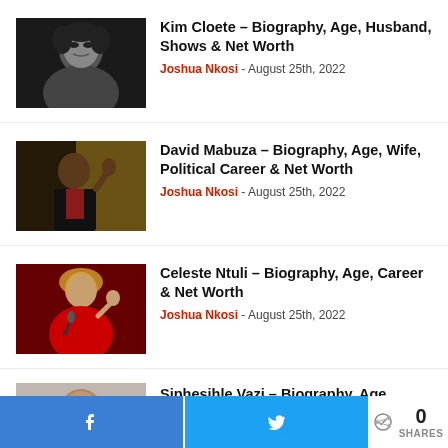[Figure (photo): Black and white close-up portrait of Kim Cloete]
Kim Cloete – Biography, Age, Husband, Shows & Net Worth
Joshua Nkosi - August 25th, 2022
[Figure (photo): David Mabuza speaking at a podium with South African flag in background]
David Mabuza – Biography, Age, Wife, Political Career & Net Worth
Joshua Nkosi - August 25th, 2022
[Figure (photo): Celeste Ntuli in red outfit performing on stage with microphone]
Celeste Ntuli – Biography, Age, Career & Net Worth
Joshua Nkosi - August 25th, 2022
[Figure (photo): Siphesihle Vazi portrait photo, partially visible]
Siphesihle Vazi – Biography, Age, Career & Net Worth